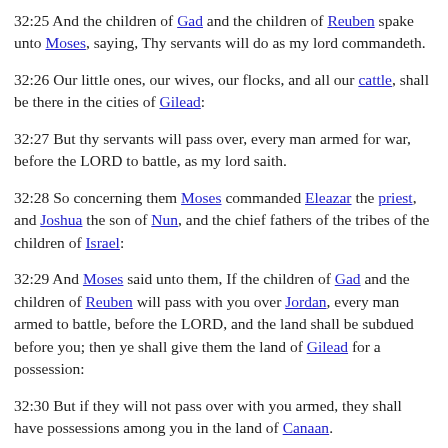32:25 And the children of Gad and the children of Reuben spake unto Moses, saying, Thy servants will do as my lord commandeth.
32:26 Our little ones, our wives, our flocks, and all our cattle, shall be there in the cities of Gilead:
32:27 But thy servants will pass over, every man armed for war, before the LORD to battle, as my lord saith.
32:28 So concerning them Moses commanded Eleazar the priest, and Joshua the son of Nun, and the chief fathers of the tribes of the children of Israel:
32:29 And Moses said unto them, If the children of Gad and the children of Reuben will pass with you over Jordan, every man armed to battle, before the LORD, and the land shall be subdued before you; then ye shall give them the land of Gilead for a possession:
32:30 But if they will not pass over with you armed, they shall have possessions among you in the land of Canaan.
32:31 And the children of Gad and the children of Reuben answered, saying, As the LORD hath said unto thy servants, so will we do.